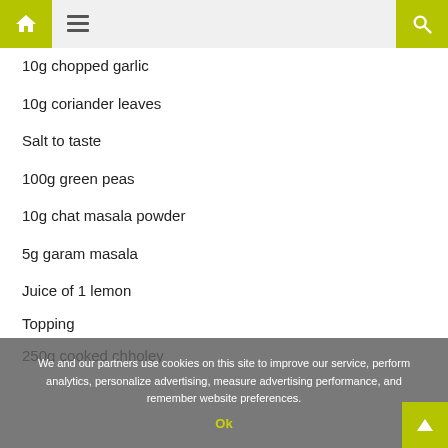Home | Menu | Search
10g chopped garlic
10g coriander leaves
Salt to taste
100g green peas
10g chat masala powder
5g garam masala
Juice of 1 lemon
Topping
250g cooked chholey
We and our partners use cookies on this site to improve our service, perform analytics, personalize advertising, measure advertising performance, and remember website preferences.
Ok